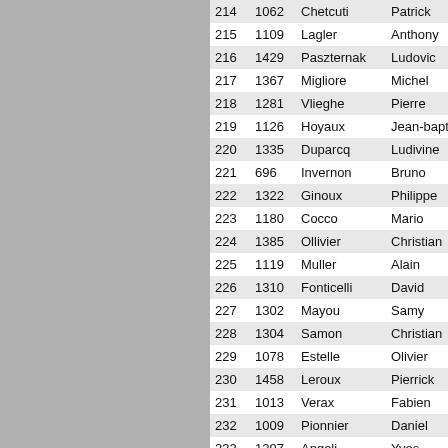| 214 | 1062 | Chetcuti | Patrick |
| 215 | 1109 | Lagler | Anthony |
| 216 | 1429 | Paszternak | Ludovic |
| 217 | 1367 | Migliore | Michel |
| 218 | 1281 | Vlieghe | Pierre |
| 219 | 1126 | Hoyaux | Jean-baptiste |
| 220 | 1335 | Duparcq | Ludivine |
| 221 | 696 | Invernon | Bruno |
| 222 | 1322 | Ginoux | Philippe |
| 223 | 1180 | Cocco | Mario |
| 224 | 1385 | Ollivier | Christian |
| 225 | 1119 | Muller | Alain |
| 226 | 1310 | Fonticelli | David |
| 227 | 1302 | Mayou | Samy |
| 228 | 1304 | Samon | Christian |
| 229 | 1078 | Estelle | Olivier |
| 230 | 1458 | Leroux | Pierrick |
| 231 | 1013 | Verax | Fabien |
| 232 | 1009 | Pionnier | Daniel |
| 233 | 1297 | Angeli | Yves |
| 234 | 1221 | Germanaud | Gilbert |
| 235 | 1282 | Lamacq | Pascal |
| 236 | 1041 | Lafranchise | Didier |
| 237 | 1266 | Rinfray | Gilles |
| 238 | 1426 | Druon | Marc |
| 239 | 1151 | Ribat | Laurent |